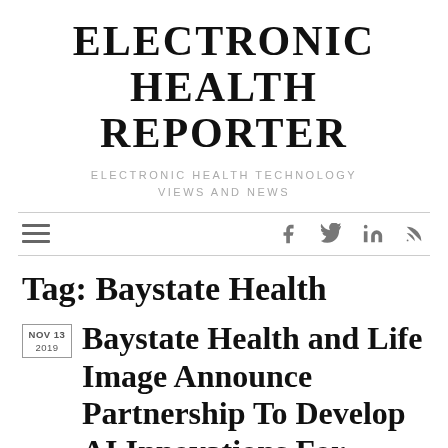ELECTRONIC HEALTH REPORTER
ELECTRONIC HEALTH TECHNOLOGY VIEWS AND NEWS
[Figure (other): Navigation bar with hamburger menu icon and social media icons: Facebook, Twitter, LinkedIn, RSS feed]
Tag: Baystate Health
NOV 13 2019
Baystate Health and Life Image Announce Partnership To Develop AI Innovations For Improved